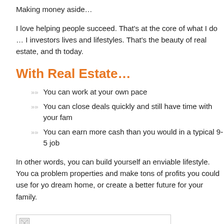Making money aside…
I love helping people succeed. That's at the core of what I do … I investors lives and lifestyles. That's the beauty of real estate, and th today.
With Real Estate…
You can work at your own pace
You can close deals quickly and still have time with your fa
You can earn more cash than you would in a typical 9-5 job
In other words, you can build yourself an enviable lifestyle. You ca problem properties and make tons of profits you could use for yo dream home, or create a better future for your family.
[Figure (photo): Image placeholder with broken image icon in top-left corner, bordered box]
You can do all this and more a s